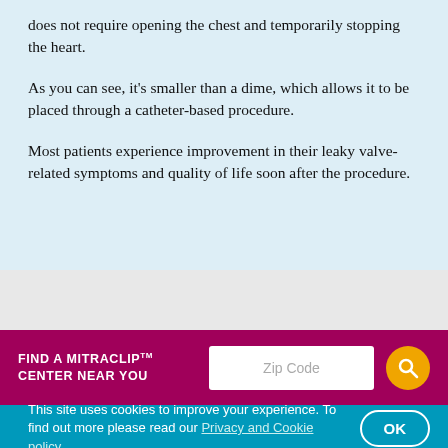does not require opening the chest and temporarily stopping the heart.
As you can see, it’s smaller than a dime, which allows it to be placed through a catheter-based procedure.
Most patients experience improvement in their leaky valve-related symptoms and quality of life soon after the procedure.
FIND A MITRACLIP™ CENTER NEAR YOU
This site uses cookies to improve your experience. To find out more please read our Privacy and Cookie policy.